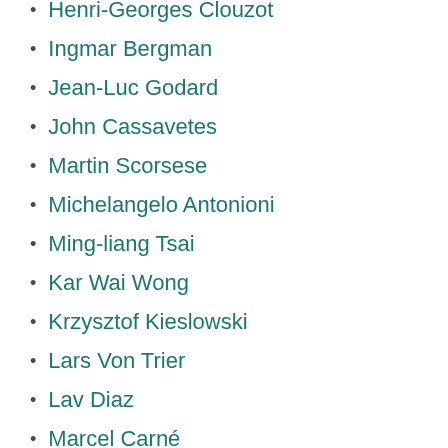Henri-Georges Clouzot
Ingmar Bergman
Jean-Luc Godard
John Cassavetes
Martin Scorsese
Michelangelo Antonioni
Ming-liang Tsai
Kar Wai Wong
Krzysztof Kieslowski
Lars Von Trier
Lav Diaz
Marcel Carné
Michael Haneke
Nuri Bilge Ceylan
Pedro Almodóvar
Radu Jude
Rainer Werner Fassbinder
Robert Bresson
Roman Polanski
Satyajit Ray